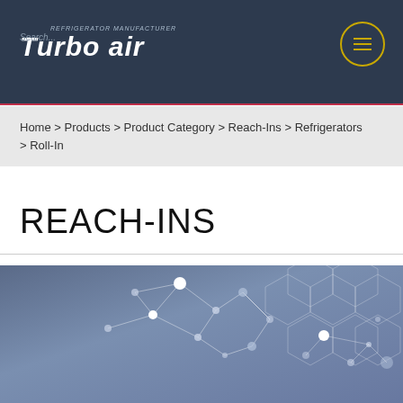Turbo air — REFRIGERATOR MANUFACTURER
Home > Products > Product Category > Reach-Ins > Refrigerators > Roll-In
REACH-INS
[Figure (illustration): Product category banner with hexagonal tech pattern background and dark overlay box labeled 'Roll-In']